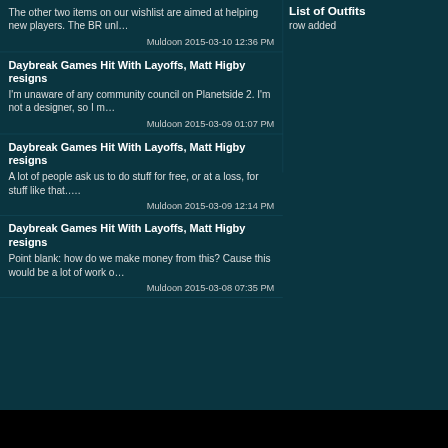The other two items on our wishlist are aimed at helping new players. The BR unl…
Muldoon 2015-03-10 12:36 PM
Daybreak Games Hit With Layoffs, Matt Higby resigns
I'm unaware of any community council on Planetside 2. I'm not a designer, so I m…
Muldoon 2015-03-09 01:07 PM
Daybreak Games Hit With Layoffs, Matt Higby resigns
A lot of people ask us to do stuff for free, or at a loss, for stuff like that….
Muldoon 2015-03-09 12:14 PM
Daybreak Games Hit With Layoffs, Matt Higby resigns
Point blank: how do we make money from this? Cause this would be a lot of work o…
Muldoon 2015-03-08 07:35 PM
List of Outfits
row added